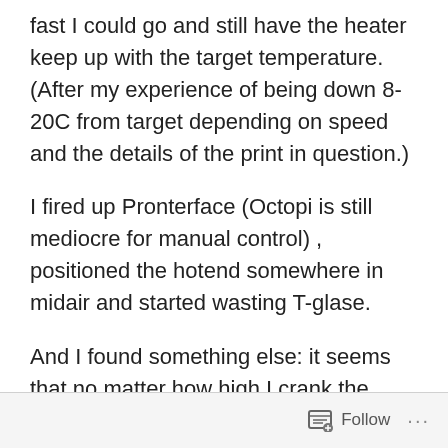fast I could go and still have the heater keep up with the target temperature. (After my experience of being down 8-20C from target depending on speed and the details of the print in question.)
I fired up Pronterface (Octopi is still mediocre for manual control) , positioned the hotend somewhere in midair and started wasting T-glase.
And I found something else: it seems that no matter how high I crank the target temperature (within the material's limits), above a certain extrusion speed the heat simply doesn't get into the filament in the same way. Or something. The filament comes out of the nozzle, starts cooling, shrinks lengthwise and immediately swells to
Follow ···